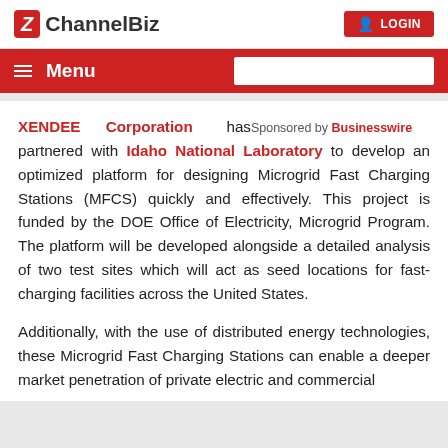ChannelBiz | LOGIN
Menu
XENDEE Corporation has Sponsored by Businesswire partnered with Idaho National Laboratory to develop an optimized platform for designing Microgrid Fast Charging Stations (MFCS) quickly and effectively. This project is funded by the DOE Office of Electricity, Microgrid Program. The platform will be developed alongside a detailed analysis of two test sites which will act as seed locations for fast-charging facilities across the United States.
Additionally, with the use of distributed energy technologies, these Microgrid Fast Charging Stations can enable a deeper market penetration of private electric and commercial